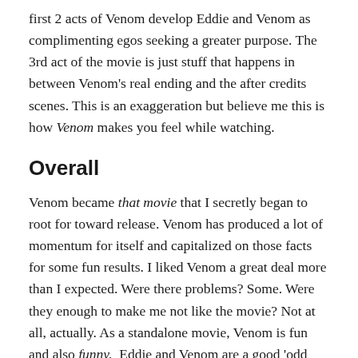first 2 acts of Venom develop Eddie and Venom as complimenting egos seeking a greater purpose. The 3rd act of the movie is just stuff that happens in between Venom's real ending and the after credits scenes. This is an exaggeration but believe me this is how Venom makes you feel while watching.
Overall
Venom became that movie that I secretly began to root for toward release. Venom has produced a lot of momentum for itself and capitalized on those facts for some fun results. I liked Venom a great deal more than I expected. Were there problems? Some. Were they enough to make me not like the movie? Not at all, actually. As a standalone movie, Venom is fun and also funny.  Eddie and Venom are a good 'odd couple' pairing. The movie makes me laugh with it's own weird morbid sense of humor quite a bit and I look forward to re-watching Venom to pick up on anything I may have missed.